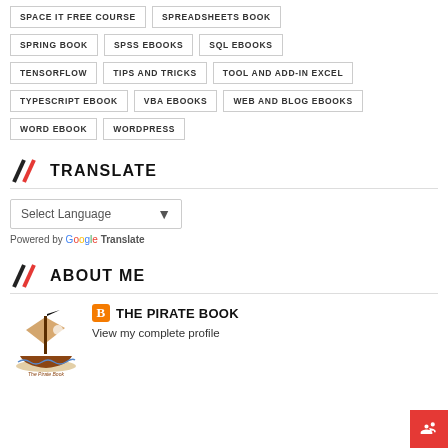SPACE IT FREE COURSE
SPREADSHEETS BOOK
SPRING BOOK
SPSS EBOOKS
SQL EBOOKS
TENSORFLOW
TIPS AND TRICKS
TOOL AND ADD-IN EXCEL
TYPESCRIPT EBOOK
VBA EBOOKS
WEB AND BLOG EBOOKS
WORD EBOOK
WORDPRESS
TRANSLATE
Select Language
Powered by Google Translate
ABOUT ME
THE PIRATE BOOK
View my complete profile